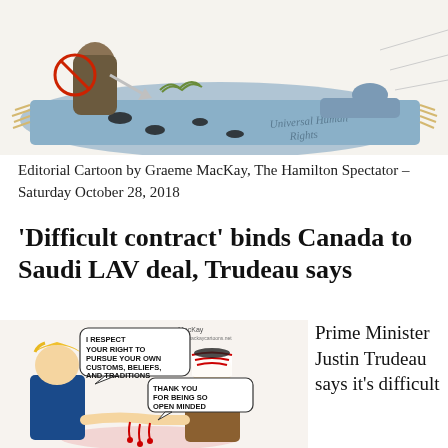[Figure (illustration): Editorial cartoon showing figures on a rug with text 'Universal Human Rights' visible, depicting a violent scene]
Editorial Cartoon by Graeme MacKay, The Hamilton Spectator – Saturday October 28, 2018
‘Difficult contract’ binds Canada to Saudi LAV deal, Trudeau says
[Figure (illustration): Editorial cartoon by MacKay showing two figures shaking hands with bloody hands. Speech bubbles read 'I RESPECT YOUR RIGHT TO PURSUE YOUR OWN CUSTOMS, BELIEFS, AND TRADITIONS' and 'THANK YOU FOR BEING SO OPEN MINDED DONALD']
Prime Minister Justin Trudeau says it's difficult